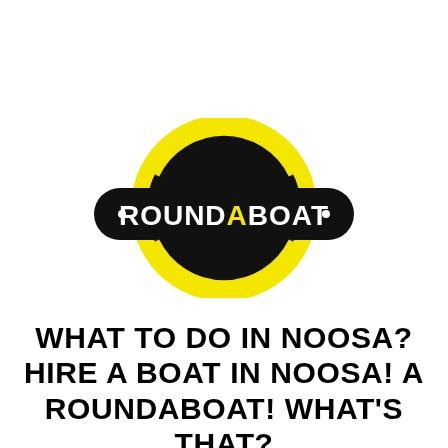[Figure (logo): ROUNDABOAT logo: a black rounded rectangle bar with white text 'ROUNDABOAT' (with the letter A in yellow), overlaid on a black circle with a yellow ring, forming a roundel-style logo.]
WHAT TO DO IN NOOSA? HIRE A BOAT IN NOOSA! A ROUNDABOAT! WHAT'S THAT?